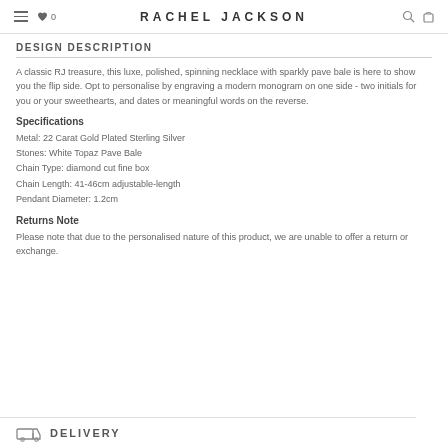RACHEL JACKSON
DESIGN DESCRIPTION
A classic RJ treasure, this luxe, polished, spinning necklace with sparkly pave bale is here to show you the flip side. Opt to personalise by engraving a modern monogram on one side - two initials for you or your sweethearts, and dates or meaningful words on the reverse.
Specifications
Metal: 22 Carat Gold Plated Sterling Silver
Stones: White Topaz Pave Bale
Chain Type: diamond cut fine box
Chain Length: 41-46cm adjustable-length
Pendant Diameter: 1.2cm
Returns Note
Please note that due to the personalised nature of this product, we are unable to offer a return or exchange.
DELIVERY